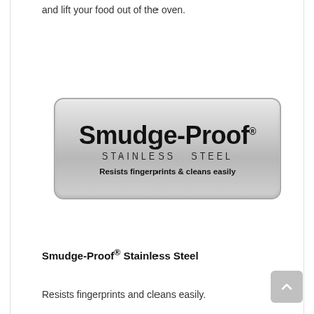and lift your food out of the oven.
[Figure (logo): Smudge-Proof Stainless Steel badge/logo — a rounded rectangle with metallic silver gradient background. Large bold text reads 'Smudge-Proof', below it spaced uppercase letters 'STAINLESS STEEL', and below that 'Resists fingerprints & cleans easily'.]
Smudge-Proof® Stainless Steel
Resists fingerprints and cleans easily.